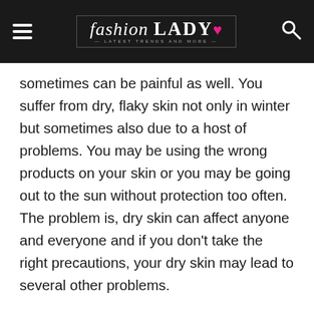fashion LADY • — Latest Trends and More —
sometimes can be painful as well. You suffer from dry, flaky skin not only in winter but sometimes also due to a host of problems. You may be using the wrong products on your skin or you may be going out to the sun without protection too often. The problem is, dry skin can affect anyone and everyone and if you don't take the right precautions, your dry skin may lead to several other problems.